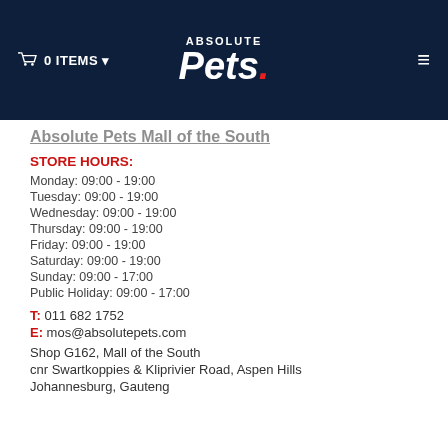Absolute Pets — navigation header with cart (0 ITEMS), logo, and menu icon
Absolute Pets Mall of the South
STORE HOURS:
Monday: 09:00 - 19:00
Tuesday: 09:00 - 19:00
Wednesday: 09:00 - 19:00
Thursday: 09:00 - 19:00
Friday: 09:00 - 19:00
Saturday: 09:00 - 19:00
Sunday: 09:00 - 17:00
Public Holiday: 09:00 - 17:00
T: 011 682 1752
E: mos@absolutepets.com
Shop G162, Mall of the South
cnr Swartkoppies & Kliprivier Road, Aspen Hills
Johannesburg, Gauteng